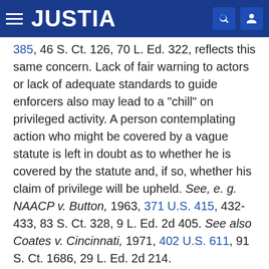JUSTIA
385, 46 S. Ct. 126, 70 L. Ed. 322, reflects this same concern. Lack of fair warning to actors or lack of adequate standards to guide enforcers also may lead to a "chill" on privileged activity. A person contemplating action who might be covered by a vague statute is left in doubt as to whether he is covered by the statute and, if so, whether his claim of privilege will be upheld. See, e. g. NAACP v. Button, 1963, 371 U.S. 415, 432-433, 83 S. Ct. 328, 9 L. Ed. 2d 405. See also Coates v. Cincinnati, 1971, 402 U.S. 611, 91 S. Ct. 1686, 29 L. Ed. 2d 214.
Rather than await case-by-case excision of a statute's overbreadth or vagueness through